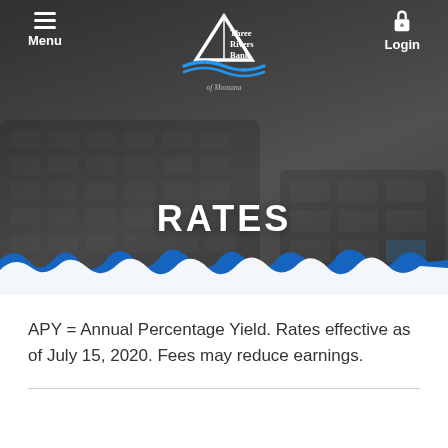[Figure (photo): Hero banner showing a person's hands typing on a calculator and laptop keyboard, with a dark overlay. Three Rivers Bank of Montana logo centered at top. Navigation bar with Menu on left and Login on right. Large white bold text 'RATES' centered on image. Blue and white torn/wavy edge at bottom of hero image.]
APY = Annual Percentage Yield. Rates effective as of July 15, 2020. Fees may reduce earnings.